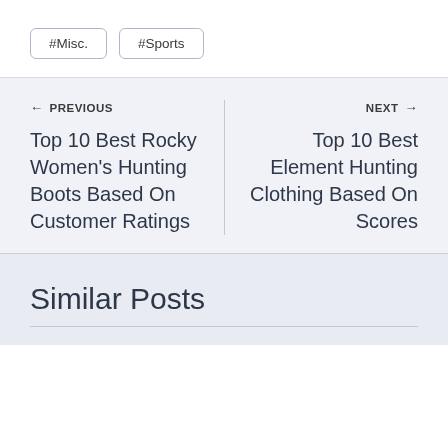#Misc.
#Sports
← PREVIOUS
Top 10 Best Rocky Women's Hunting Boots Based On Customer Ratings
NEXT →
Top 10 Best Element Hunting Clothing Based On Scores
Similar Posts